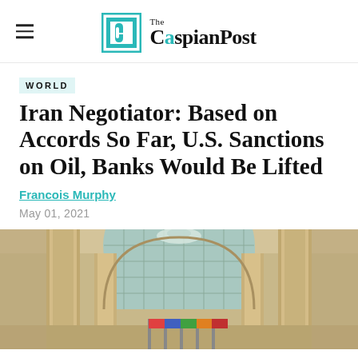The CaspianPost
WORLD
Iran Negotiator: Based on Accords So Far, U.S. Sanctions on Oil, Banks Would Be Lifted
Francois Murphy
May 01, 2021
[Figure (photo): Interior of a grand hall or building with large columns, arched windows, chandelier visible in the background, flags at the bottom]